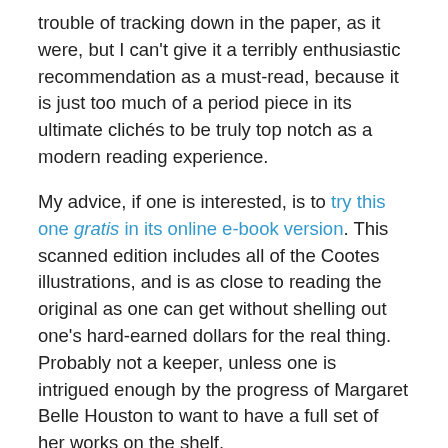trouble of tracking down in the paper, as it were, but I can't give it a terribly enthusiastic recommendation as a must-read, because it is just too much of a period piece in its ultimate clichés to be truly top notch as a modern reading experience.
My advice, if one is interested, is to try this one gratis in its online e-book version. This scanned edition includes all of the Cootes illustrations, and is as close to reading the original as one can get without shelling out one's hard-earned dollars for the real thing. Probably not a keeper, unless one is intrigued enough by the progress of Margaret Belle Houston to want to have a full set of her works on the shelf.
I have several more of Houston's later novels waiting to be read: Bride's Island (1957) and Cottonwoods Grow Tall